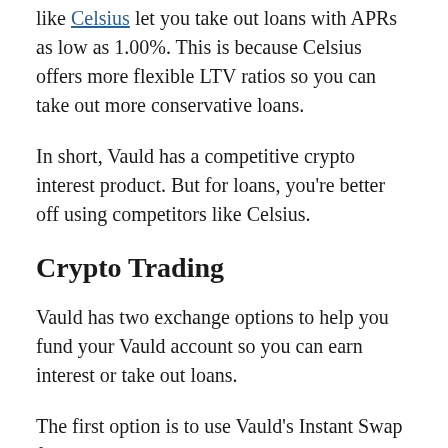like Celsius let you take out loans with APRs as low as 1.00%. This is because Celsius offers more flexible LTV ratios so you can take out more conservative loans.
In short, Vauld has a competitive crypto interest product. But for loans, you're better off using competitors like Celsius.
Crypto Trading
Vauld has two exchange options to help you fund your Vauld account so you can earn interest or take out loans.
The first option is to use Vauld's Instant Swap feature to swap various crypto currencies